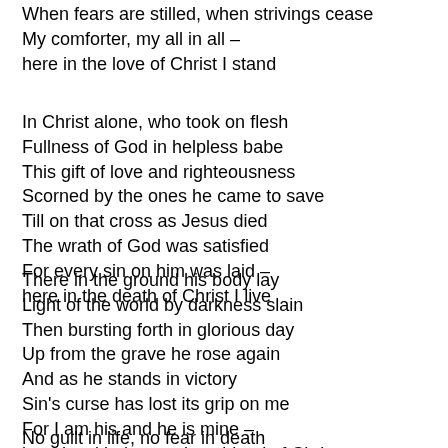When fears are stilled, when strivings cease
My comforter, my all in all –
here in the love of Christ I stand
In Christ alone, who took on flesh
Fullness of God in helpless babe
This gift of love and righteousness
Scorned by the ones he came to save
Till on that cross as Jesus died
The wrath of God was satisfied
For every sin on him was laid –
here in the death of Christ I live
There in the ground his body lay
Light of the world by darkness slain
Then bursting forth in glorious day
Up from the grave he rose again
And as he stands in victory
Sin's curse has lost its grip on me
For I am his and he is mine –
bought with the precious blood of Christ
No guilt in life, no fear in death